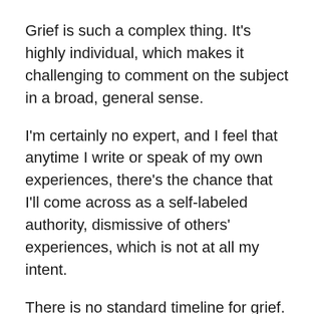Grief is such a complex thing. It's highly individual, which makes it challenging to comment on the subject in a broad, general sense.
I'm certainly no expert, and I feel that anytime I write or speak of my own experiences, there's the chance that I'll come across as a self-labeled authority, dismissive of others' experiences, which is not at all my intent.
There is no standard timeline for grief. There is no one book, source, or method of interacting that comforts everyone who's experienced a devastating loss. I'm almost embarrassed to admit this, but one of the most renowned books on the subject of grief made me inexplicably angry — A Grief Observed, by C.S. Lewis.
I can't explain it, but I felt more alone and like a complete